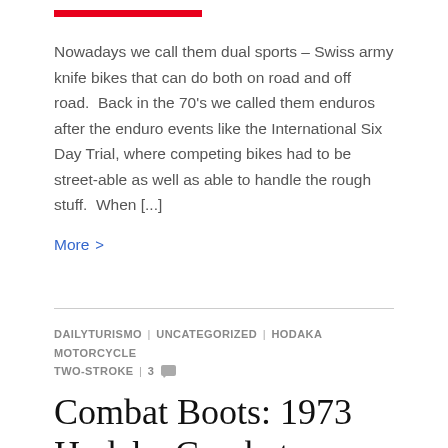[Figure (other): Red horizontal bar decorative element]
Nowadays we call them dual sports – Swiss army knife bikes that can do both on road and off road.  Back in the 70's we called them enduros after the enduro events like the International Six Day Trial, where competing bikes had to be street-able as well as able to handle the rough stuff.  When [...]
More >
DAILYTURISMO | UNCATEGORIZED | HODAKA MOTORCYCLE TWO-STROKE | 3
Combat Boots: 1973 Hodaka Combat Wombat
March 23 2016
[Figure (photo): Gray image placeholder bar at bottom]